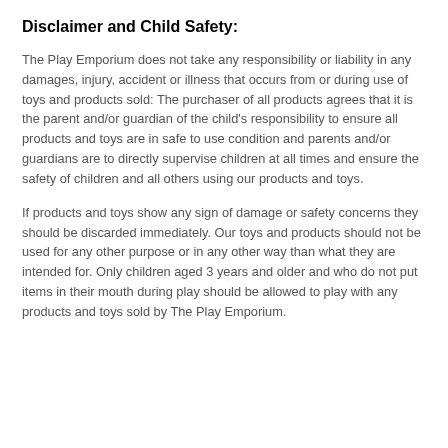Disclaimer and Child Safety:
The Play Emporium does not take any responsibility or liability in any damages, injury, accident or illness that occurs from or during use of toys and products sold: The purchaser of all products agrees that it is the parent and/or guardian of the child's responsibility to ensure all products and toys are in safe to use condition and parents and/or guardians are to directly supervise children at all times and ensure the safety of children and all others using our products and toys.
If products and toys show any sign of damage or safety concerns they should be discarded immediately. Our toys and products should not be used for any other purpose or in any other way than what they are intended for. Only children aged 3 years and older and who do not put items in their mouth during play should be allowed to play with any products and toys sold by The Play Emporium.